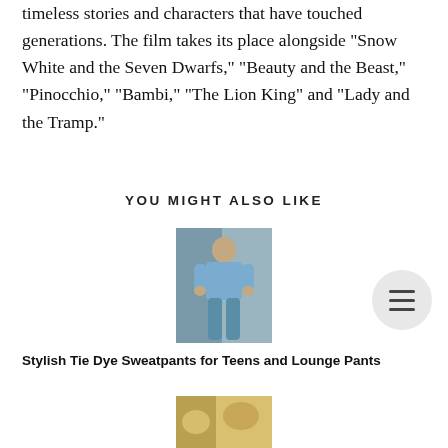timeless stories and characters that have touched generations. The film takes its place alongside “Snow White and the Seven Dwarfs,” “Beauty and the Beast,” “Pinocchio,” “Bambi,” “The Lion King” and “Lady and the Tramp.”
YOU MIGHT ALSO LIKE
[Figure (photo): Thumbnail photo of a person wearing a denim outfit, posed in an elevator or metallic background]
Stylish Tie Dye Sweatpants for Teens and Lounge Pants
[Figure (photo): Thumbnail photo of a colorful item, partially visible at the bottom of the page]